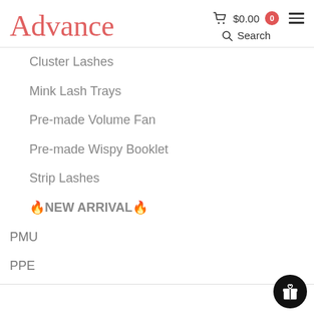Advance — $0.00 cart, Search
Cluster Lashes
Mink Lash Trays
Pre-made Volume Fan
Pre-made Wispy Booklet
Strip Lashes
🔥NEW ARRIVAL🔥
PMU
PPE
Tweezers
Uncategorized